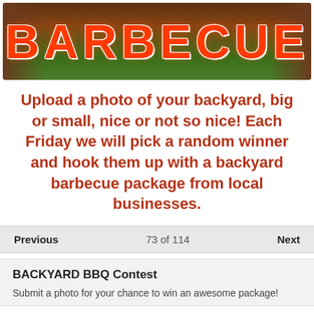[Figure (photo): Barbecue banner image with grassy background and outdoor cooking scene. Large text 'BARBECUE' in red with white outline displayed prominently.]
Upload a photo of your backyard, big or small, nice or not so nice! Each Friday we will pick a random winner and hook them up with a backyard barbecue package from local businesses.
Previous   73 of 114   Next
BACKYARD BBQ Contest
Submit a photo for your chance to win an awesome package!
Sh...